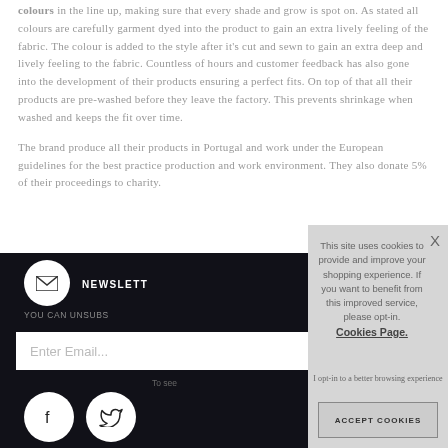colours in the line up, making sure that every shade and grow is spot on. As stated all colours are carefully garment dyed into the product to gain an extra lively feeling of the fabric. The colour is added to the style after it's cut and sewn to gain an extra deep and lively feeling to the fabric. Countless of hours and customer feedback has also gone into the development of their products ensuring a perfect fits. On top of that all their products are pre-washed before they leave the factory. This prevents shrinkage when washed and keeps the fit over time.
The brand produce all their products in Portugal and work under the European guidelines for the best practice production and work environment. They also donate 5% of their proceedings to charity.
[Figure (screenshot): Dark footer section with newsletter signup, email input field, social media icons (Facebook, Twitter), and a cookie consent overlay modal with text 'This site uses cookies to provide and improve your shopping experience. If you want to benefit from this improved service, please opt-in. Cookies Page. I opt-in to a better browsing experience' and an ACCEPT COOKIES button.]